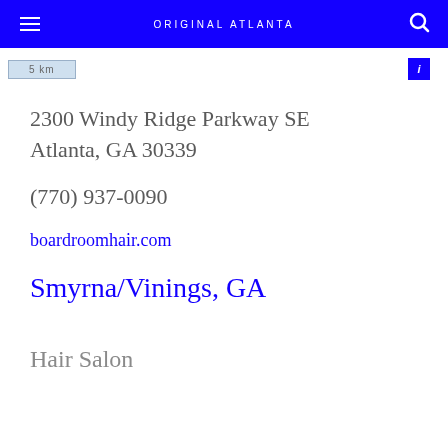ORIGINAL ATLANTA
[Figure (map): Map scale indicator showing 5 km bar with info button]
2300 Windy Ridge Parkway SE Atlanta, GA 30339
(770) 937-0090
boardroomhair.com
Smyrna/Vinings, GA
Hair Salon